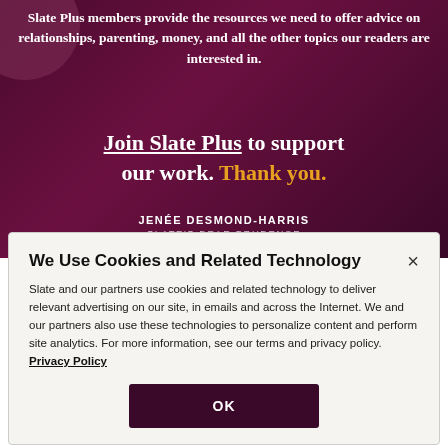Slate Plus members provide the resources we need to offer advice on relationships, parenting, money, and all the other topics our readers are interested in.
Join Slate Plus to support our work. Thank you.
JENÉE DESMOND-HARRIS
SLATE'S DEAR PRUDENCE
We Use Cookies and Related Technology
Slate and our partners use cookies and related technology to deliver relevant advertising on our site, in emails and across the Internet. We and our partners also use these technologies to personalize content and perform site analytics. For more information, see our terms and privacy policy. Privacy Policy
OK